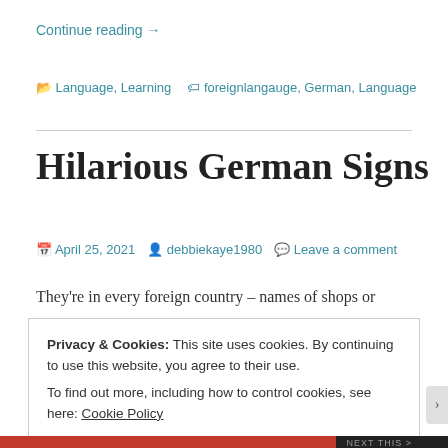Continue reading →
🗂 Language, Learning  🏷 foreignlangauge, German, Language
Hilarious German Signs
📅 April 25, 2021  👤 debbiekaye1980  💬 Leave a comment
They're in every foreign country – names of shops or
Privacy & Cookies: This site uses cookies. By continuing to use this website, you agree to their use.
To find out more, including how to control cookies, see here: Cookie Policy

Close and accept